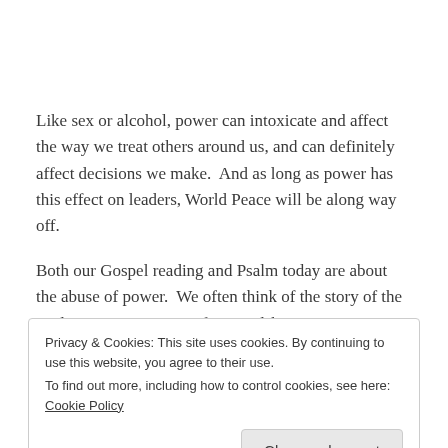Like sex or alcohol, power can intoxicate and affect the way we treat others around us, and can definitely affect decisions we make.  And as long as power has this effect on leaders, World Peace will be along way off.
Both our Gospel reading and Psalm today are about the abuse of power.  We often think of the story of the Widow's mite in terms of stewardship.  We picture Jesus
Privacy & Cookies: This site uses cookies. By continuing to use this website, you agree to their use.
To find out more, including how to control cookies, see here: Cookie Policy
of mind.  Jesus is boiling mad.  The first sentence of the